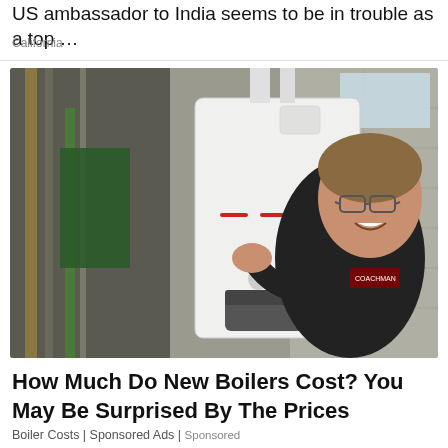US ambassador to India seems to be in trouble as a top …
California
[Figure (photo): A smiling middle-aged man with glasses and stubble, wearing a black jacket with a logo, gesturing toward a white wall-mounted boiler unit (labeled 'prestige') in a basement/utility room setting with pipes and concrete block walls.]
How Much Do New Boilers Cost? You May Be Surprised By The Prices
Boiler Costs | Sponsored Ads | Sponsored